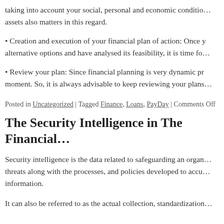taking into account your social, personal and economic conditions. The nature and value of your assets also matters in this regard.
• Creation and execution of your financial plan of action: Once you have explored alternative options and have analysed its feasibility, it is time fo…
• Review your plan: Since financial planning is very dynamic p… moment. So, it is always advisable to keep reviewing your plans…
Posted in Uncategorized | Tagged Finance, Loans, PayDay | Comments Off
The Security Intelligence in The Financial…
Security intelligence is the data related to safeguarding an organ… threats along with the processes, and policies developed to accu… information.
It can also be referred to as the actual collection, standardization…